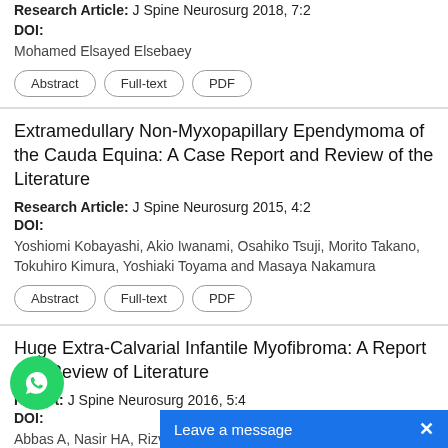Research Article: J Spine Neurosurg 2018, 7:2
DOI:
Mohamed Elsayed Elsebaey
Abstract | Full-text | PDF
Extramedullary Non-Myxopapillary Ependymoma of the Cauda Equina: A Case Report and Review of the Literature
Research Article: J Spine Neurosurg 2015, 4:2
DOI:
Yoshiomi Kobayashi, Akio Iwanami, Osahiko Tsuji, Morito Takano, Tokuhiro Kimura, Yoshiaki Toyama and Masaya Nakamura
Abstract | Full-text | PDF
Huge Extra-Calvarial Infantile Myofibroma: A Report and Review of Literature
Report: J Spine Neurosurg 2016, 5:4
DOI:
Abbas A, Nasir HA, Rizvi SRK, Qasi...